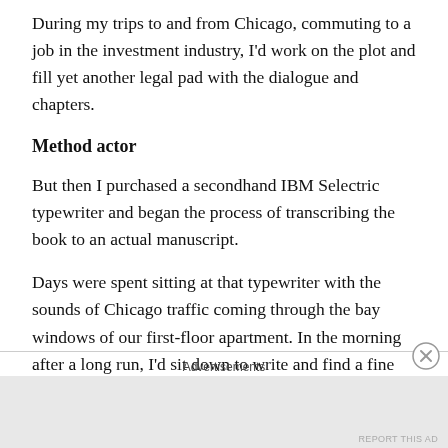During my trips to and from Chicago, commuting to a job in the investment industry, I'd work on the plot and fill yet another legal pad with the dialogue and chapters.
Method actor
But then I purchased a secondhand IBM Selectric typewriter and began the process of transcribing the book to an actual manuscript.
Days were spent sitting at that typewriter with the sounds of Chicago traffic coming through the bay windows of our first-floor apartment. In the morning after a long run, I'd sit down to write and find a fine dust of urban grit on the pages of my book. I'd brush it off the keys and the paper.
Advertisements